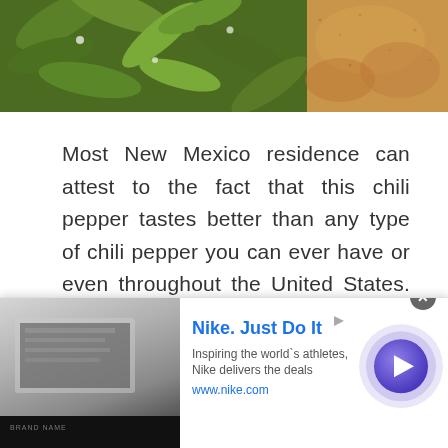[Figure (photo): Photo strip showing green chili pepper plants on the left side and dried orange/tan spice or food on the right side]
Most New Mexico residence can attest to the fact that this chili pepper tastes better than any type of chili pepper you can ever have or even throughout the United States. Just like every other pepper plant, this type of pepper loves a long and hot growing season.
[Figure (screenshot): Nike advertisement banner. Shows 'Nike. Just Do It' title in blue bold text, subtitle 'Inspiring the world's athletes, Nike delivers the deals', URL 'www.nike.com', a thumbnail image on the left showing a laptop/screen, a purple circular CTA button with right arrow on the right, and a close (X) button at top right.]